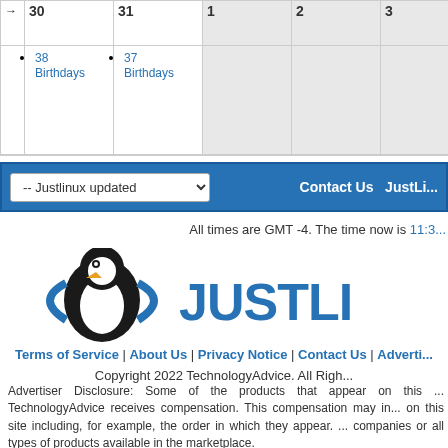|  | 30 | 31 | 1 | 2 | 3 |
| --- | --- | --- | --- | --- | --- |
| → | 38 Birthdays | 37 Birthdays |  |  |  |
-- Justlinux updated  |  Contact Us  JustLi...
All times are GMT -4. The time now is 11:3...
[Figure (logo): JustLinux logo with penguin bird graphic and JUSTLI... text in blue]
Terms of Service | About Us | Privacy Notice | Contact Us | Adverti... 
Copyright 2022 TechnologyAdvice. All Righ...
Advertiser Disclosure: Some of the products that appear on this ... TechnologyAdvice receives compensation. This compensation may in... on this site including, for example, the order in which they appear. ... companies or all types of products available in the marketplace.